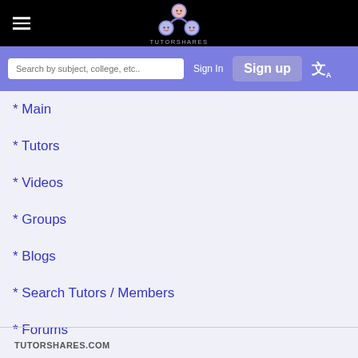[Figure (logo): TutorShares logo with three cartoon face icons arranged in a triangle, with the text TUTORSHARES below]
[Figure (screenshot): Navigation bar with search box 'Search by subject, college, etc..', Sign In text button, Sign up button, and translate icon]
* Main
* Tutors
* Videos
* Groups
* Blogs
* Search Tutors / Members
* Forums
* Sign Up
TUTORSHARES.COM